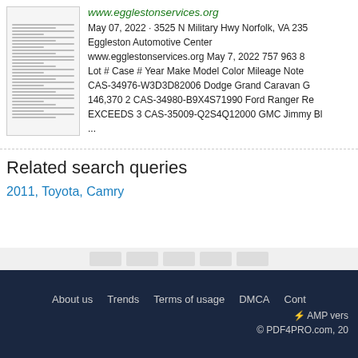[Figure (screenshot): Thumbnail preview of a document showing a table with vehicle listing data]
www.egglestonservices.org
May 07, 2022 · 3525 N Military Hwy Norfolk, VA 235
Eggleston Automotive Center
www.egglestonservices.org May 7, 2022 757 963 8
Lot # Case # Year Make Model Color Mileage Note
CAS-34976-W3D3D82006 Dodge Grand Caravan G
146,370 2 CAS-34980-B9X4S71990 Ford Ranger Re
EXCEEDS 3 CAS-35009-Q2S4Q12000 GMC Jimmy Bl
...
Related search queries
2011, Toyota, Camry
About us   Trends   Terms of usage   DMCA   Cont
⚡ AMP vers
© PDF4PRO.com, 20